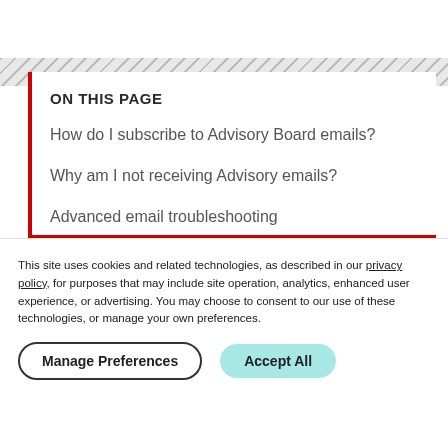ON THIS PAGE
How do I subscribe to Advisory Board emails?
Why am I not receiving Advisory emails?
Advanced email troubleshooting
How do I reset my password?
This site uses cookies and related technologies, as described in our privacy policy, for purposes that may include site operation, analytics, enhanced user experience, or advertising. You may choose to consent to our use of these technologies, or manage your own preferences.